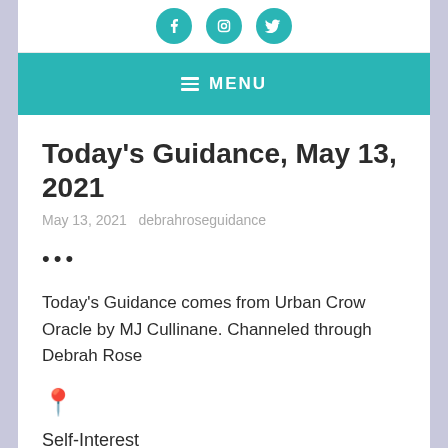[Figure (illustration): Three circular teal social media icons (Facebook, Instagram, Twitter) on white background]
≡ MENU
Today's Guidance, May 13, 2021
May 13, 2021   debrahroseguidance
•••
Today's Guidance comes from Urban Crow Oracle by MJ Cullinane. Channeled through Debrah Rose
📍
Self-Interest